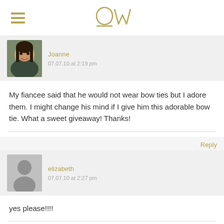OW (logo)
[Figure (illustration): Profile photo of Joanne — woman with long dark hair smiling]
Joanne
07.07.10 at 2:19 pm
My fiancee said that he would not wear bow ties but I adore them. I might change his mind if I give him this adorable bow tie. What a sweet giveaway! Thanks!
Reply
[Figure (illustration): Generic gray silhouette avatar placeholder for elizabeth]
elizabeth
07.07.10 at 2:27 pm
yes please!!!!